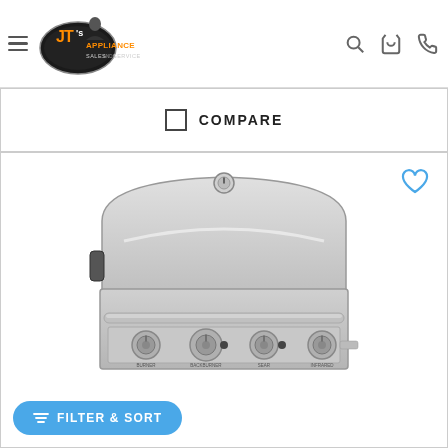JT's Appliance Sales and Service - navigation header
COMPARE
[Figure (photo): Stainless steel built-in gas grill with multiple burner knobs and a lid, shown from front angle. Blue heart/wishlist icon in upper right corner.]
FILTER & SORT